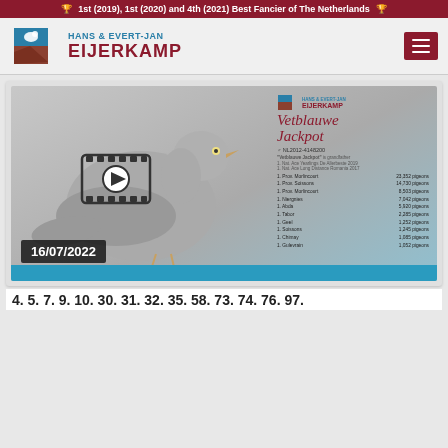1st (2019), 1st (2020) and 4th (2021) Best Fancier of The Netherlands
HANS & EVERT-JAN EIJERKAMP
[Figure (photo): Pigeon profile card for Vetblauwe Jackpot, NL2012-4148200, with race results listed and date 16/07/2022. Shows a grey pigeon graphic and video play button overlay.]
4. 5. 7. 9. 10. 30. 31. 32. 35. 58. 73. 74. 76. 97.